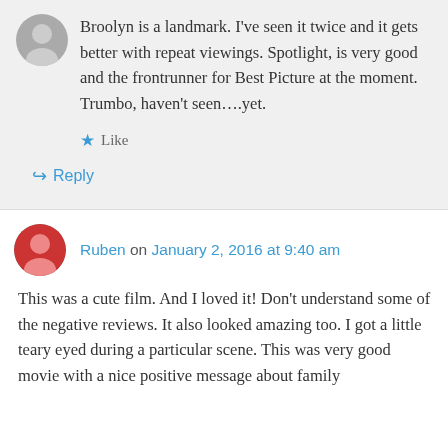Broolyn is a landmark. I've seen it twice and it gets better with repeat viewings. Spotlight, is very good and the frontrunner for Best Picture at the moment. Trumbo, haven't seen….yet.
★ Like
↳ Reply
Ruben on January 2, 2016 at 9:40 am
This was a cute film. And I loved it! Don't understand some of the negative reviews. It also looked amazing too. I got a little teary eyed during a particular scene. This was very good movie with a nice positive message about family